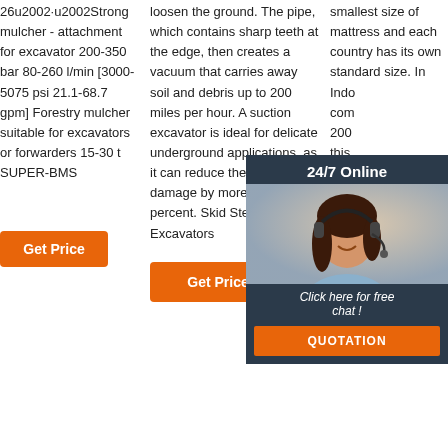26u2002·u2002Strong mulcher - attachment for excavator 200-350 bar 80-260 l/min [3000-5075 psi 21.1-68.7 gpm] Forestry mulcher suitable for excavators or forwarders 15-30 t SUPER-BMS
loosen the ground. The pipe, which contains sharp teeth at the edge, then creates a vacuum that carries away soil and debris up to 200 miles per hour. A suction excavator is ideal for delicate underground applications, as it can reduce the chance of damage by more than 50 percent. Skid Steer Excavators
smallest size of mattress and each country has its own standard size. In Indo... com... 200 this com... Euro... such Den... Bas...
[Figure (infographic): 24/7 Online chat overlay with a woman wearing headset, and a QUOTATION button]
[Figure (other): TOP badge with dots decoration]
Get Price
Get Price
Get Price